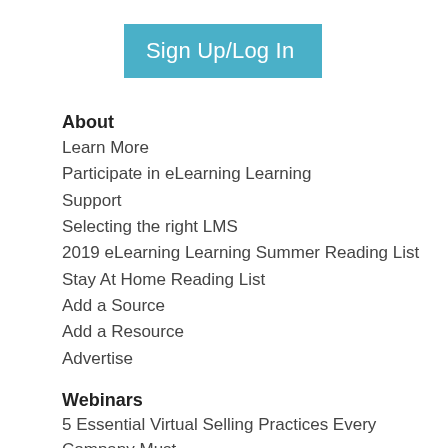Sign Up/Log In
About
Learn More
Participate in eLearning Learning
Support
Selecting the right LMS
2019 eLearning Learning Summer Reading List
Stay At Home Reading List
Add a Source
Add a Resource
Advertise
Webinars
5 Essential Virtual Selling Practices Every Company Must Have by 2023
See All ›
Awards
2017 eLearning Learning MVP awards
2018 eLearning Learning MVP Awards